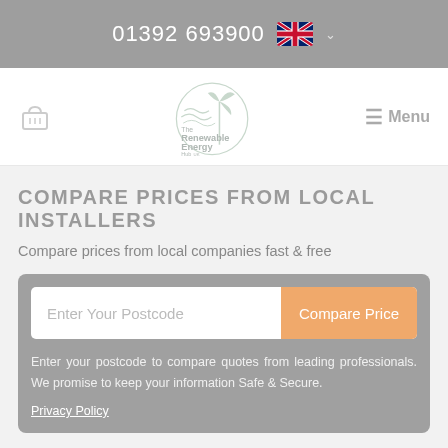01392 693900
[Figure (logo): The Renewable Energy Hub UK logo with wind turbine and swirl graphic]
COMPARE PRICES FROM LOCAL INSTALLERS
Compare prices from local companies fast & free
Enter Your Postcode | Compare Price
Enter your postcode to compare quotes from leading professionals. We promise to keep your information Safe & Secure.
Privacy Policy